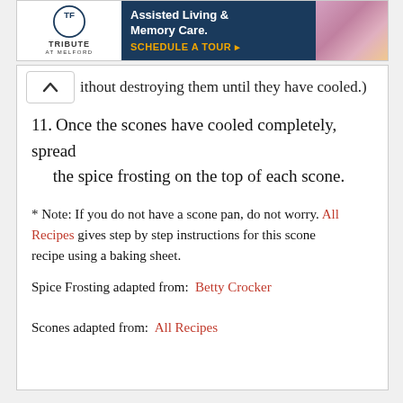[Figure (other): Advertisement banner for Tribute at Melford assisted living and memory care facility with logo, dark blue background with text 'Assisted Living & Memory Care. SCHEDULE A TOUR ▸' and a photo of elderly people]
ithout destroying them until they have cooled.)
11. Once the scones have cooled completely, spread the spice frosting on the top of each scone.
* Note: If you do not have a scone pan, do not worry. All Recipes gives step by step instructions for this scone recipe using a baking sheet.
Spice Frosting adapted from: Betty Crocker
Scones adapted from: All Recipes